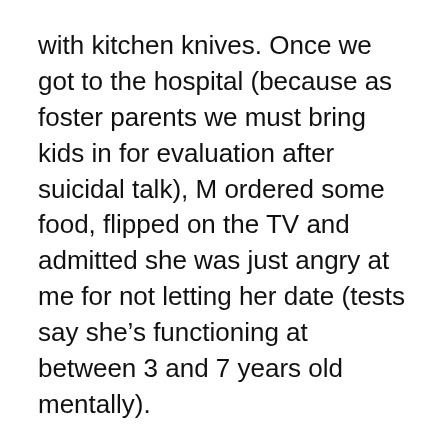with kitchen knives. Once we got to the hospital (because as foster parents we must bring kids in for evaluation after suicidal talk), M ordered some food, flipped on the TV and admitted she was just angry at me for not letting her date (tests say she’s functioning at between 3 and 7 years old mentally).
While there’s a whole host of more important issues to deal with, the one that drives my husband and I crazy is her Cinderella dress from two years ago. The experts say to pick your battles, so we let her dress in the torn, too small dress over her play clothes after school. She gathers a bunch of toys, rocks and pieces of string into a bag, hops on her bike and parks it a